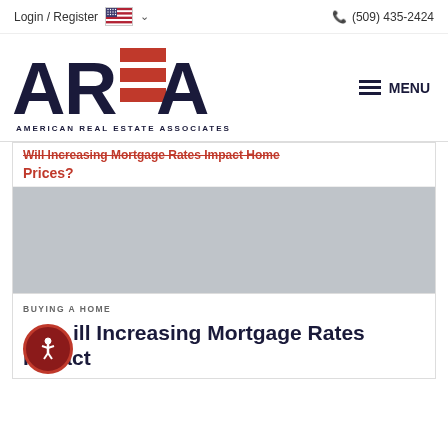Login / Register   (509) 435-2424
[Figure (logo): American Real Estate Associates (AREA) logo with red and navy blue styling and American flag motif]
Will Increasing Mortgage Rates Impact Home Prices?
BUYING A HOME
Will Increasing Mortgage Rates Impact Home Prices?